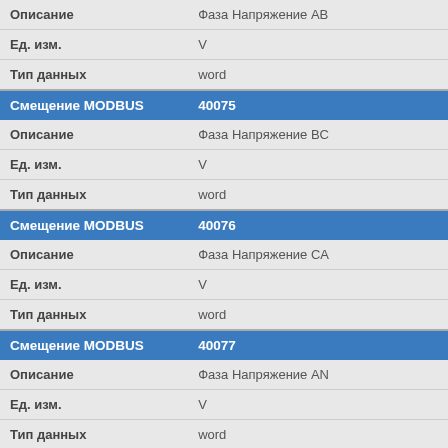| Описание | Фаза Напряжение AB |
| --- | --- |
| Ед. изм. | V |
| Тип данных | word |
| Смещение MODBUS | 40075 |
| Описание | Фаза Напряжение BC |
| Ед. изм. | V |
| Тип данных | word |
| Смещение MODBUS | 40076 |
| Описание | Фаза Напряжение CA |
| Ед. изм. | V |
| Тип данных | word |
| Смещение MODBUS | 40077 |
| Описание | Фаза Напряжение AN |
| Ед. изм. | V |
| Тип данных | word |
| Смещение MODBUS | 40078 |
| Описание | Фаза Напряжение BN |
| Ед. изм. | V |